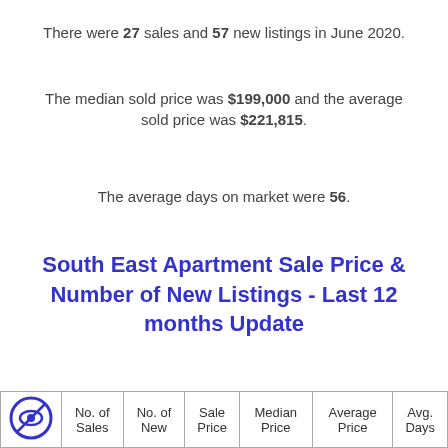There were 27 sales and 57 new listings in June 2020.
The median sold price was $199,000 and the average sold price was $221,815.
The average days on market were 56.
South East Apartment Sale Price & Number of New Listings - Last 12 months Update
|  | No. of Sales | No. of New | Sale Price | Median Price | Average Price | Avg. Days |
| --- | --- | --- | --- | --- | --- | --- |